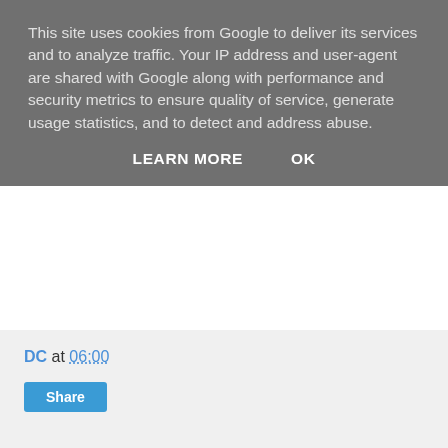This site uses cookies from Google to deliver its services and to analyze traffic. Your IP address and user-agent are shared with Google along with performance and security metrics to ensure quality of service, generate usage statistics, and to detect and address abuse.
LEARN MORE   OK
[Figure (logo): Instagram camera logo icon]
[Figure (logo): Deezer music app logo — black circle with colorful bar chart waveform and DEEZER text]
[Figure (logo): Orange circle with @ symbol — email/social app icon]
[Figure (screenshot): Small social share bar with red button, SHARE text, dashes, and flag icons]
DC at 06:00
Share